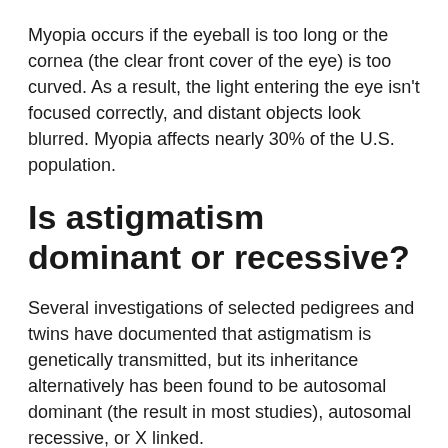Myopia occurs if the eyeball is too long or the cornea (the clear front cover of the eye) is too curved. As a result, the light entering the eye isn't focused correctly, and distant objects look blurred. Myopia affects nearly 30% of the U.S. population.
Is astigmatism dominant or recessive?
Several investigations of selected pedigrees and twins have documented that astigmatism is genetically transmitted, but its inheritance alternatively has been found to be autosomal dominant (the result in most studies), autosomal recessive, or X linked.